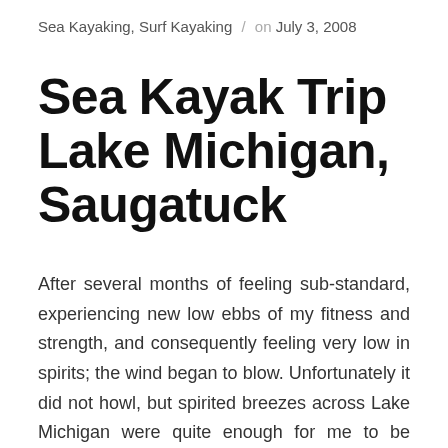Sea Kayaking, Surf Kayaking / on July 3, 2008
Sea Kayak Trip Lake Michigan, Saugatuck
After several months of feeling sub-standard, experiencing new low ebbs of my fitness and strength, and consequently feeling very low in spirits; the wind began to blow. Unfortunately it did not howl, but spirited breezes across Lake Michigan were quite enough for me to be getting on with. After being a complete ass and forgetting about dropping off my Isabella at camp (I suck), I negotiated a penitent truce